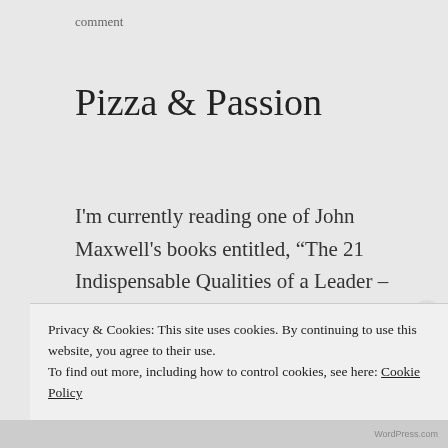comment
Pizza & Passion
I'm currently reading one of John Maxwell's books entitled, “The 21 Indispensable Qualities of a Leader – Becoming the Person Others Will Want to Follow” (thanks to a good friend for giving this book).  Past days, I was reading the chapter about the importance of Passion.
Privacy & Cookies: This site uses cookies. By continuing to use this website, you agree to their use.
To find out more, including how to control cookies, see here: Cookie Policy
Close and accept